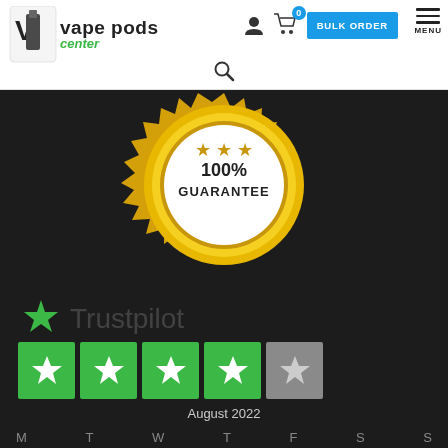[Figure (logo): Vape Pods Center logo with icon and text]
[Figure (illustration): 100% Guarantee gold seal/badge]
[Figure (logo): Trustpilot logo with star and text]
[Figure (illustration): Trustpilot 4-star rating: four green star boxes and one gray star box]
August 2022
M T W T F S S